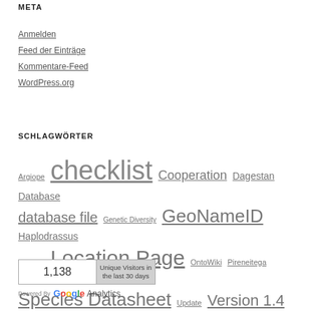META
Anmelden
Feed der Einträge
Kommentare-Feed
WordPress.org
SCHLAGWÖRTER
Argiope checklist Cooperation Dagestan Database database file Genetic Diversity GeoNameID Haplodrassus License Location Page OntoWiki Pireneitega Publications Page Species Datasheet Update Version 1.4 Version 2.0
[Figure (other): Google Analytics widget showing 1,138 Unique Visitors in the last 30 days, Powered By Google Analytics]
Powered By Google Analytics